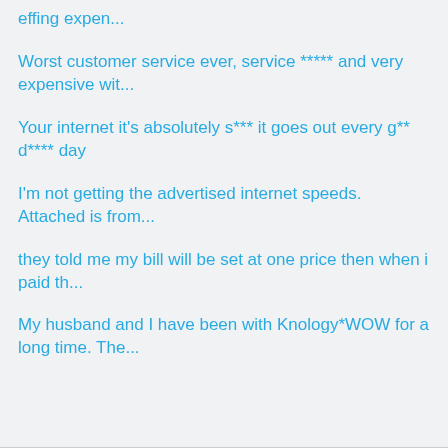effing expen...
Worst customer service ever, service ***** and very expensive wit...
Your internet it's absolutely s*** it goes out every g** d**** day
I'm not getting the advertised internet speeds. Attached is from...
they told me my bill will be set at one price then when i paid th...
My husband and I have been with Knology*WOW for a long time. The...